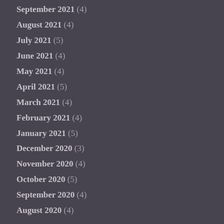September 2021 (4)
August 2021 (4)
July 2021 (5)
June 2021 (4)
May 2021 (4)
April 2021 (5)
March 2021 (4)
February 2021 (4)
January 2021 (5)
December 2020 (3)
November 2020 (4)
October 2020 (5)
September 2020 (4)
August 2020 (4)